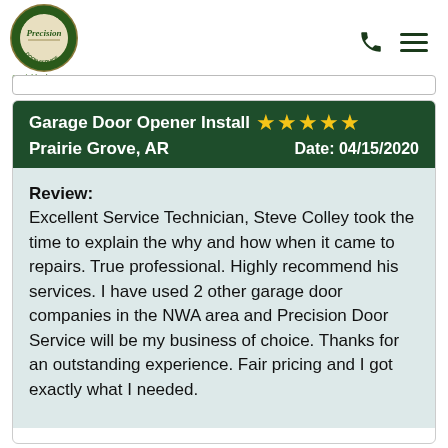[Figure (logo): Precision Door Service logo — circular emblem with 'Overhead Garage Door Service' text around the border, green and gold colors, with tagline 'a neighborly company']
Precision Door Service — a neighborly company
Garage Door Opener Install ★★★★★  Prairie Grove, AR  Date: 04/15/2020
Review: Excellent Service Technician, Steve Colley took the time to explain the why and how when it came to repairs. True professional. Highly recommend his services. I have used 2 other garage door companies in the NWA area and Precision Door Service will be my business of choice. Thanks for an outstanding experience. Fair pricing and I got exactly what I needed.